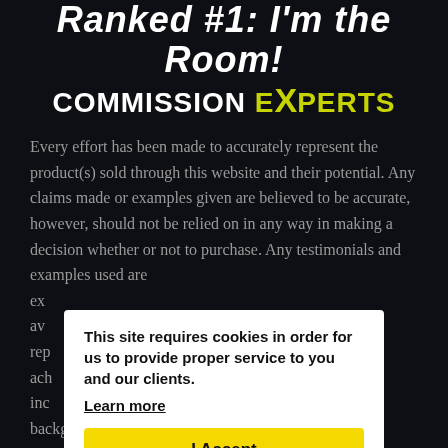Ranked #1: I'm the Room! COMMISSION EXPERTS
Every effort has been made to accurately represent the product(s) sold through this website and their potential. Any claims made or examples given are believed to be accurate, however, should not be relied on in any way in making a decision whether or not to purchase. Any testimonials and examples used are exc... av... rep... ach... inc... background, dedication, desire and
This site requires cookies in order for us to provide proper service to you and our clients. Learn more I Accept